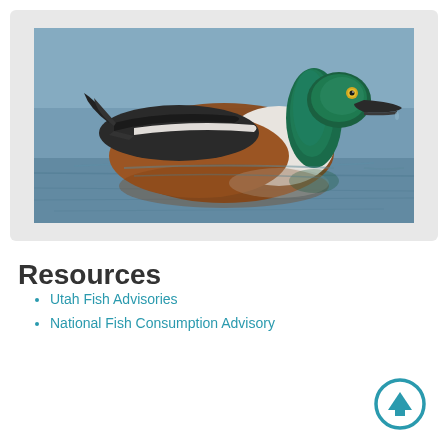[Figure (photo): A male Northern Shoveler duck swimming on calm blue water. The duck has a distinctive green iridescent head, yellow eye, dark bill, chestnut-brown sides, and white breast. Reflections visible in the water.]
Resources
Utah Fish Advisories
National Fish Consumption Advisory